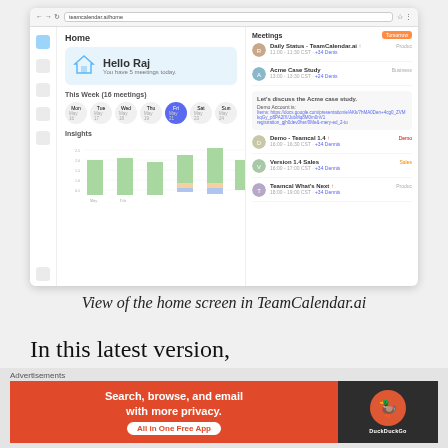[Figure (screenshot): Screenshot of TeamCalendar.ai home screen in a browser window, showing a greeting card 'Hello Raj, You have 5 meetings today.', a weekly calendar row (Mon–Sun), an Insights bar chart, a Meetings panel on the right with several meeting items including avatars and tags, and a highlighted meeting card.]
View of the home screen in TeamCalendar.ai
In this latest version, Teamcalendar.ai introduces a re-imagined calendar home screen f...
Advertisements
[Figure (screenshot): DuckDuckGo advertisement banner: orange left side with text 'Search, browse, and email with more privacy. All in One Free App', dark right side with DuckDuckGo logo.]